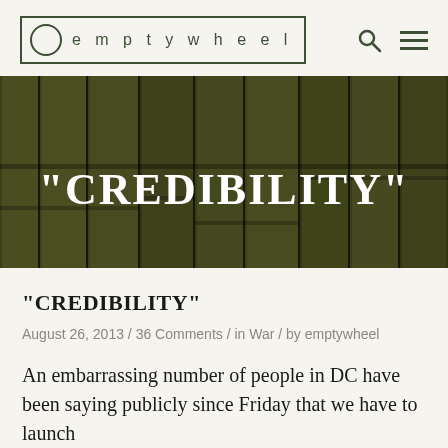emptywheel
[Figure (photo): Dark olive/sepia-toned photo of bamboo stalks or wooden logs stacked vertically, serving as hero image background with white bold text overlay reading "CREDIBILITY"]
“CREDIBILITY”
August 26, 2013 / 36 Comments / in War / by emptywheel
An embarrassing number of people in DC have been saying publicly since Friday that we have to launch